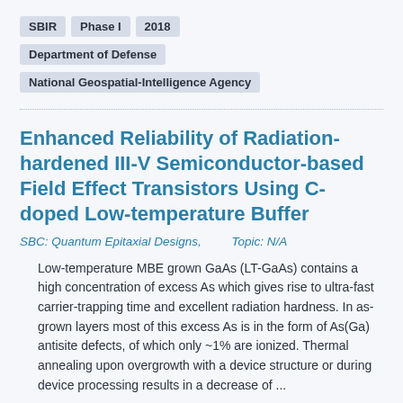SBIR  Phase I  2018
Department of Defense
National Geospatial-Intelligence Agency
Enhanced Reliability of Radiation-hardened III-V Semiconductor-based Field Effect Transistors Using C-doped Low-temperature Buffer
SBC: Quantum Epitaxial Designs,          Topic: N/A
Low-temperature MBE grown GaAs (LT-GaAs) contains a high concentration of excess As which gives rise to ultra-fast carrier-trapping time and excellent radiation hardness. In as-grown layers most of this excess As is in the form of As(Ga) antisite defects, of which only ~1% are ionized. Thermal annealing upon overgrowth with a device structure or during device processing results in a decrease of ...
SBIR  Phase I  1998